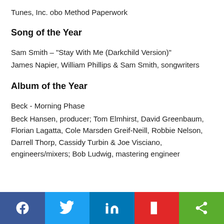Tunes, Inc. obo Method Paperwork
Song of the Year
Sam Smith – "Stay With Me (Darkchild Version)"
James Napier, William Phillips & Sam Smith, songwriters
Album of the Year
Beck - Morning Phase
Beck Hansen, producer; Tom Elmhirst, David Greenbaum, Florian Lagatta, Cole Marsden Greif-Neill, Robbie Nelson, Darrell Thorp, Cassidy Turbin & Joe Visciano, engineers/mixers; Bob Ludwig, mastering engineer
[Figure (infographic): Social sharing bar with Facebook, Twitter, LinkedIn, Flipboard, and share buttons]